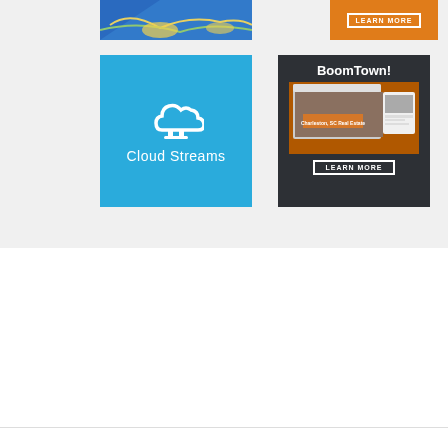[Figure (screenshot): Top-left partial image with blue, yellow, and green abstract design]
[Figure (screenshot): Top-right orange button with LEARN MORE text]
[Figure (logo): Cloud Streams logo - blue square with white cloud icon and text 'Cloud Streams']
[Figure (screenshot): BoomTown! advertisement with dark background, title text, device screenshot, and orange LEARN MORE button]
How can we help?
[Figure (other): Circular up-arrow navigation button]
[Figure (screenshot): Partial search bar at bottom of page]